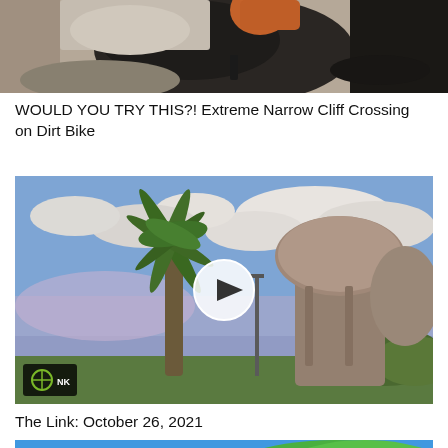[Figure (photo): Top portion of a video thumbnail showing a dirt bike or motorcycle on a rocky/cliff surface with dark background]
WOULD YOU TRY THIS?! Extreme Narrow Cliff Crossing on Dirt Bike
[Figure (screenshot): Video thumbnail with a play button overlay showing a palm tree, large mushroom-shaped concrete structure, and a blue sky with clouds. A link logo (LINK) is in the bottom left corner.]
The Link: October 26, 2021
[Figure (screenshot): Bottom portion of a TypicalGamer video thumbnail with blue background, diamond logo, and colorful terrain]